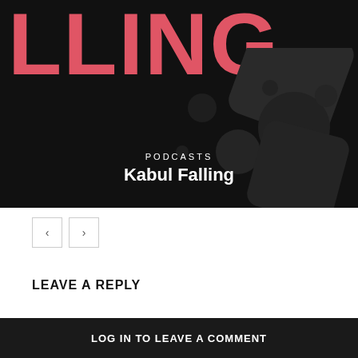[Figure (illustration): Dark banner image with large red/coral bold letters 'LLING' at top (partial word 'FALLING'), dark background with translucent geometric diamond shapes on the right, category label 'PODCASTS' and title 'Kabul Falling' overlaid at the bottom center.]
PODCASTS
Kabul Falling
< >
LEAVE A REPLY
LOG IN TO LEAVE A COMMENT